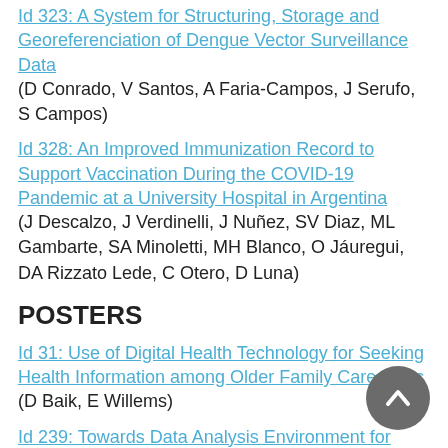Id 323: A System for Structuring, Storage and Georeferenciation of Dengue Vector Surveillance Data
(D Conrado, V Santos, A Faria-Campos, J Serufo, S Campos)
Id 328: An Improved Immunization Record to Support Vaccination During the COVID-19 Pandemic at a University Hospital in Argentina
(J Descalzo, J Verdinelli, J Nuñez, SV Diaz, ML Gambarte, SA Minoletti, MH Blanco, O Jáuregui, DA Rizzato Lede, C Otero, D Luna)
POSTERS
Id 31: Use of Digital Health Technology for Seeking Health Information among Older Family Car...
(D Baik, E Willems)
Id 239: Towards Data Analysis Environment for...